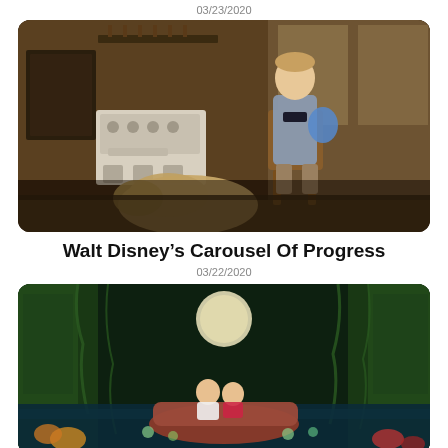03/23/2020
[Figure (photo): Scene from Walt Disney's Carousel of Progress attraction showing an animatronic man in a suit seated in a rocking chair in a vintage kitchen setting, with a dog animatronic in the foreground.]
Walt Disney’s Carousel Of Progress
03/22/2020
[Figure (photo): Scene from a Disney attraction showing two characters in a boat on water, surrounded by tropical jungle foliage, lit by moonlight.]